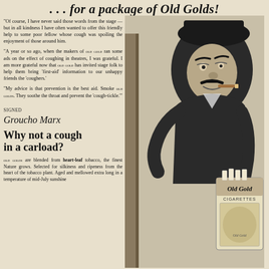... for a package of Old Golds!
"Of course, I have never said those words from the stage — but in all kindness I have often wanted to offer this friendly help to some poor fellow whose cough was spoiling the enjoyment of those around him.
"A year or so ago, when the makers of OLD GOLD ran some ads on the effect of coughing in theatres, I was grateful. I am more grateful now that OLD GOLD has invited stage folk to help them bring 'first-aid' information to our unhappy friends the 'coughers.'
"My advice is that prevention is the best aid. Smoke OLD GOLDS. They soothe the throat and prevent the 'cough-tickle.'"
SIGNED Groucho Marx
Why not a cough in a carload?
OLD GOLDS are blended from HEART-LEAF tobacco, the finest Nature grows. Selected for silkiness and ripeness from the heart of the tobacco plant. Aged and mellowed extra long in a temperature of mid-July sunshine
[Figure (photo): Black and white photo of Groucho Marx in costume holding a package of Old Gold Cigarettes]